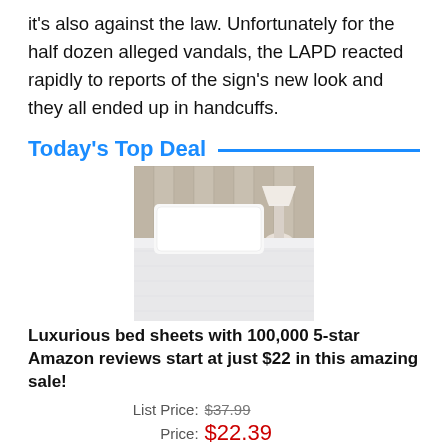it's also against the law. Unfortunately for the half dozen alleged vandals, the LAPD reacted rapidly to reports of the sign's new look and they all ended up in handcuffs.
Today's Top Deal
[Figure (photo): Photo of luxurious white bed sheets and pillow neatly arranged on a bed, with a lamp in the background.]
Luxurious bed sheets with 100,000 5-star Amazon reviews start at just $22 in this amazing sale!
| List Price: | $37.99 |
| Price: | $22.39 |
| You Save: | $15.60 (41%) |